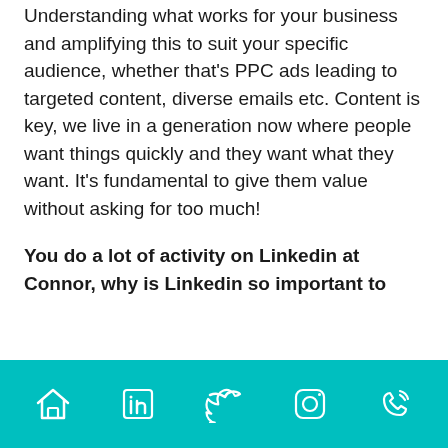Understanding what works for your business and amplifying this to suit your specific audience, whether that's PPC ads leading to targeted content, diverse emails etc. Content is key, we live in a generation now where people want things quickly and they want what they want. It's fundamental to give them value without asking for too much!
You do a lot of activity on Linkedin at Connor, why is Linkedin so important to
social icons: home, linkedin, twitter, instagram, phone